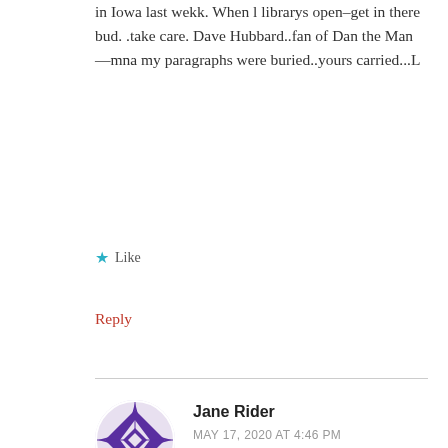in Iowa last wekk. When l librarys open–get in there bud. .take care. Dave Hubbard..fan of Dan the Man—mna my paragraphs were buried..yours carried...L
★ Like
Reply
Jane Rider
MAY 17, 2020 AT 4:46 PM
I always looked forward to reading your column and now will continue to read your new column!
★ Like